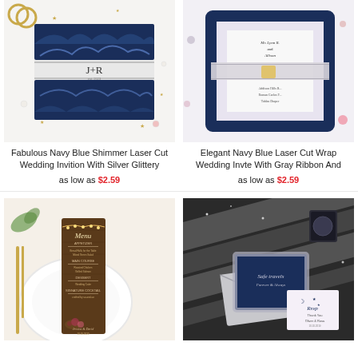[Figure (photo): Navy blue shimmer laser cut wedding invitation with J+R monogram and silver glittery band on white background with gold stars]
Fabulous Navy Blue Shimmer Laser Cut Wedding Invition With Silver Glittery
as low as $2.59
[Figure (photo): Elegant navy blue laser cut wrap wedding invite with gray ribbon and floral lace design on white background]
Elegant Navy Blue Laser Cut Wrap Wedding Invte With Gray Ribbon And
as low as $2.59
[Figure (photo): Rustic wood menu card with string lights and floral design on white plate table setting]
[Figure (photo): Navy blue and silver glitter laser cut wedding invitation set with rsvp card on sparkly background]